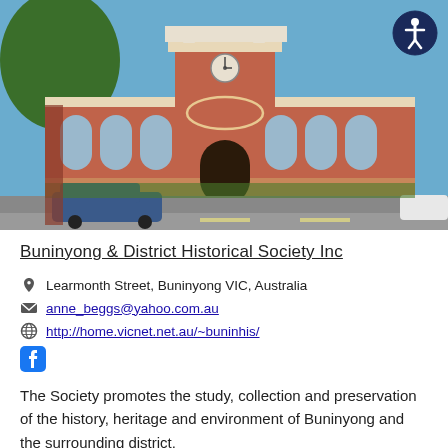[Figure (photo): Photograph of a red brick Victorian-era building (Buninyong & District Historical Society) with arched windows, a central clock tower, green trees on the left, and a blue sky. A blue car is parked in front. An accessibility icon (white figure in a circle with dark border) is overlaid in the top-right corner.]
Buninyong & District Historical Society Inc
Learmonth Street, Buninyong VIC, Australia
anne_beggs@yahoo.com.au
http://home.vicnet.net.au/~buninhis/
[Figure (logo): Facebook logo icon (blue 'f' in a rounded square)]
The Society promotes the study, collection and preservation of the history, heritage and environment of Buninyong and the surrounding district.